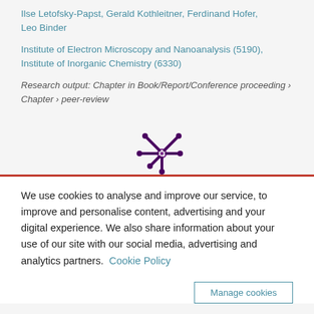Ilse Letofsky-Papst, Gerald Kothleitner, Ferdinand Hofer, Leo Binder
Institute of Electron Microscopy and Nanoanalysis (5190), Institute of Inorganic Chemistry (6330)
Research output: Chapter in Book/Report/Conference proceeding › Chapter › peer-review
[Figure (logo): Mendeley / research portal logo — purple asterisk/snowflake symbol with a small purple circle]
We use cookies to analyse and improve our service, to improve and personalise content, advertising and your digital experience. We also share information about your use of our site with our social media, advertising and analytics partners.  Cookie Policy